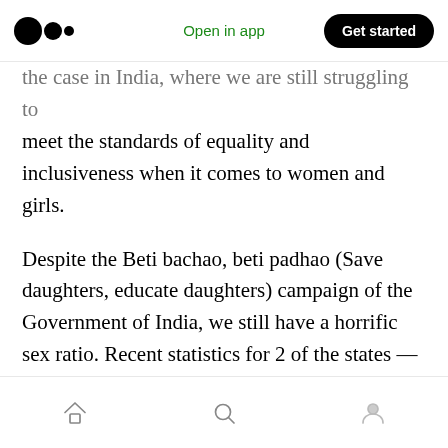Medium app header — Open in app | Get started
the case in India, where we are still struggling to meet the standards of equality and inclusiveness when it comes to women and girls.
Despite the Beti bachao, beti padhao (Save daughters, educate daughters) campaign of the Government of India, we still have a horrific sex ratio. Recent statistics for 2 of the states — Rajasthan and Andhra Pradesh indicate that female births have declined to 806 per 1000 male births.
This skewed sex ratio indicates that girls are
Bottom navigation bar: Home, Search, Profile